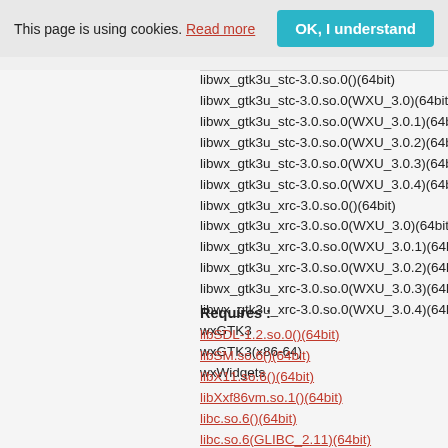This page is using cookies. Read more  OK, I understand
libwx_gtk3u_stc-3.0.so.0()(64bit)
libwx_gtk3u_stc-3.0.so.0(WXU_3.0)(64bit)
libwx_gtk3u_stc-3.0.so.0(WXU_3.0.1)(64bit)
libwx_gtk3u_stc-3.0.so.0(WXU_3.0.2)(64bit)
libwx_gtk3u_stc-3.0.so.0(WXU_3.0.3)(64bit)
libwx_gtk3u_stc-3.0.so.0(WXU_3.0.4)(64bit)
libwx_gtk3u_xrc-3.0.so.0()(64bit)
libwx_gtk3u_xrc-3.0.so.0(WXU_3.0)(64bit)
libwx_gtk3u_xrc-3.0.so.0(WXU_3.0.1)(64bit)
libwx_gtk3u_xrc-3.0.so.0(WXU_3.0.2)(64bit)
libwx_gtk3u_xrc-3.0.so.0(WXU_3.0.3)(64bit)
libwx_gtk3u_xrc-3.0.so.0(WXU_3.0.4)(64bit)
wxGTK3
wxGTK3(x86-64)
wxWidgets
Requires :
libSDL-1.2.so.0()(64bit)
libSM.so.6()(64bit)
libX11.so.6()(64bit)
libXxf86vm.so.1()(64bit)
libc.so.6()(64bit)
libc.so.6(GLIBC_2.11)(64bit)
libc.so.6(GLIBC_2.14)(64bit)
libc.so.6(GLIBC_2.15)(64bit)
libc.so.6(GLIBC_2.2.5)(64bit)
libc.so.6(GLIBC_2.3)(64bit)
libc.so.6(GLIBC_2.3.4)(64bit)